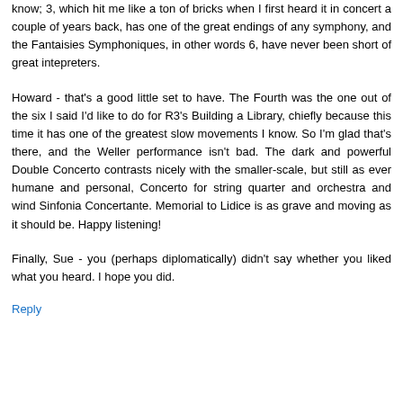know; 3, which hit me like a ton of bricks when I first heard it in concert a couple of years back, has one of the great endings of any symphony, and the Fantaisies Symphoniques, in other words 6, have never been short of great intepreters.
Howard - that's a good little set to have. The Fourth was the one out of the six I said I'd like to do for R3's Building a Library, chiefly because this time it has one of the greatest slow movements I know. So I'm glad that's there, and the Weller performance isn't bad. The dark and powerful Double Concerto contrasts nicely with the smaller-scale, but still as ever humane and personal, Concerto for string quarter and orchestra and wind Sinfonia Concertante. Memorial to Lidice is as grave and moving as it should be. Happy listening!
Finally, Sue - you (perhaps diplomatically) didn't say whether you liked what you heard. I hope you did.
Reply